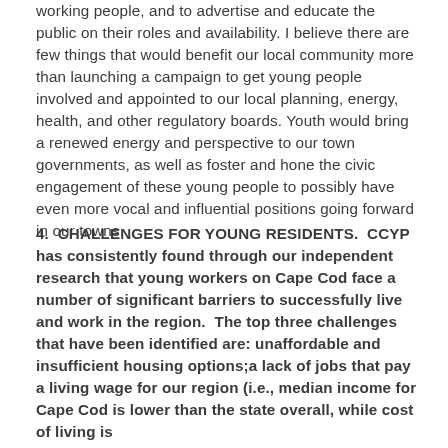working people, and to advertise and educate the public on their roles and availability. I believe there are few things that would benefit our local community more than launching a campaign to get young people involved and appointed to our local planning, energy, health, and other regulatory boards. Youth would bring a renewed energy and perspective to our town governments, as well as foster and hone the civic engagement of these young people to possibly have even more vocal and influential positions going forward in our towns.
4. CHALLENGES FOR YOUNG RESIDENTS. CCYP has consistently found through our independent research that young workers on Cape Cod face a number of significant barriers to successfully live and work in the region. The top three challenges that have been identified are: unaffordable and insufficient housing options;a lack of jobs that pay a living wage for our region (i.e., median income for Cape Cod is lower than the state overall, while cost of living is